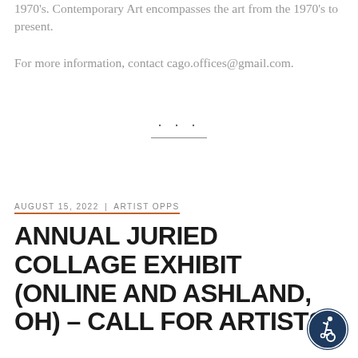1970's. Contemporary Art encompasses the art from the 1970's to present.
For more information, contact cago.offices@gmail.com.
AUGUST 15, 2022 | ARTIST OPPS
ANNUAL JURIED COLLAGE EXHIBIT (ONLINE AND ASHLAND, OH) – CALL FOR ARTISTS